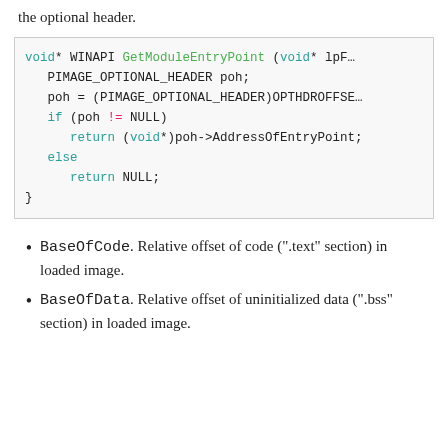the optional header.
[Figure (screenshot): Code block showing a C function GetModuleEntryPoint with syntax highlighting. void* WINAPI GetModuleEntryPoint (void* lpF... PIMAGE_OPTIONAL_HEADER poh; poh = (PIMAGE_OPTIONAL_HEADER)OPTHDROFFSE... if (poh != NULL) return (void*)poh->AddressOfEntryPoint; else return NULL; }]
BaseOfCode. Relative offset of code (".text" section) in loaded image.
BaseOfData. Relative offset of uninitialized data (".bss" section) in loaded image.